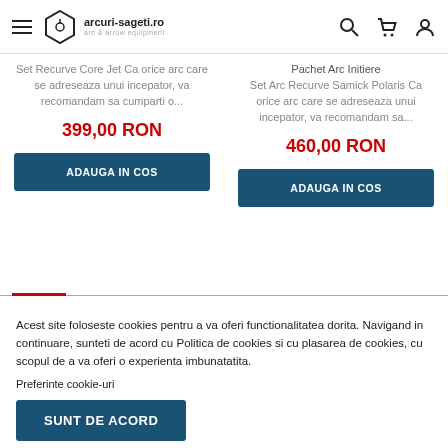arcuri-sageti.ro
Set Recurve Core Jet Ca orice arc care se adreseaza unui incepator, va recomandam sa cumparti o...
399,00 RON
ADAUGA IN COS
Pachet Arc Initiere
Set Arc Recurve Samick Polaris Ca orice arc care se adreseaza unui incepator, va recomandam sa...
460,00 RON
ADAUGA IN COS
Acest site foloseste cookies pentru a va oferi functionalitatea dorita. Navigand in continuare, sunteti de acord cu Politica de cookies si cu plasarea de cookies, cu scopul de a va oferi o experienta imbunatatita. Preferinte cookie-uri
SUNT DE ACORD